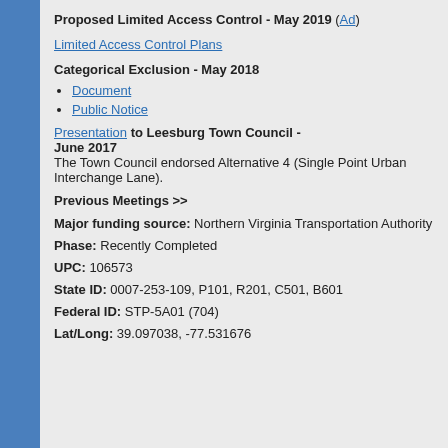Proposed Limited Access Control - May 2019 (Ad)
Limited Access Control Plans
Categorical Exclusion - May 2018
Document
Public Notice
Presentation to Leesburg Town Council - June 2017
The Town Council endorsed Alternative 4 (Single Point Urban Interchange Lane).
Previous Meetings >>
Major funding source: Northern Virginia Transportation Authority
Phase: Recently Completed
UPC: 106573
State ID: 0007-253-109, P101, R201, C501, B601
Federal ID: STP-5A01 (704)
Lat/Long: 39.097038, -77.531676